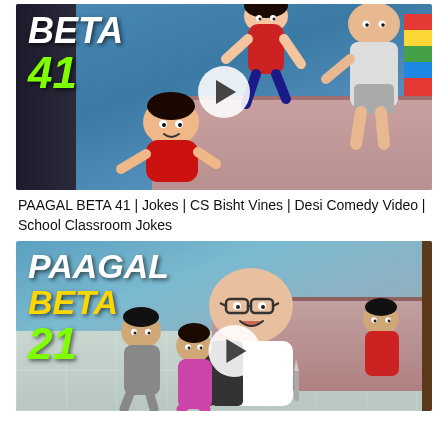[Figure (screenshot): Video thumbnail for PAAGAL BETA 41 showing animated 3D cartoon characters in a bedroom scene. Text overlay reads 'BETA 41' in white and green bold italic. A play button is visible in the center.]
PAAGAL BETA 41 | Jokes | CS Bisht Vines | Desi Comedy Video | School Classroom Jokes
[Figure (screenshot): Video thumbnail for PAAGAL BETA 21 showing animated 3D cartoon characters on a floor/bed scene. Text overlay reads 'PAAGAL BETA 21' in white, yellow, and green bold italic. A play button is visible.]